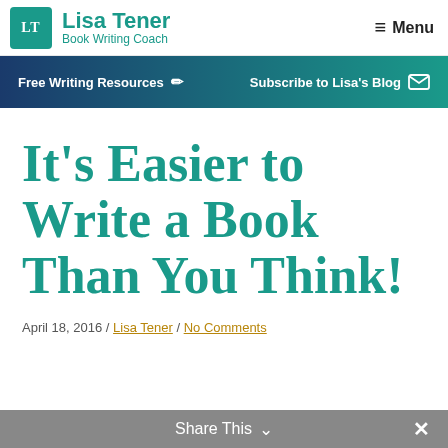Lisa Tener | Book Writing Coach
Free Writing Resources | Subscribe to Lisa's Blog
It's Easier to Write a Book Than You Think!
April 18, 2016 / Lisa Tener / No Comments
Share This